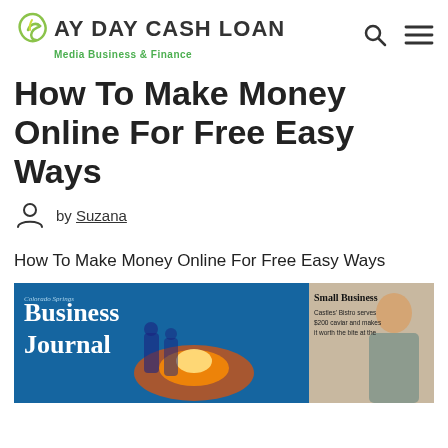PAY DAY CASH LOAN – Media Business & Finance
How To Make Money Online For Free Easy Ways
by Suzana
How To Make Money Online For Free Easy Ways
[Figure (photo): Business Journal magazine cover showing 'Small Business' section with a person working in what appears to be a restaurant kitchen]